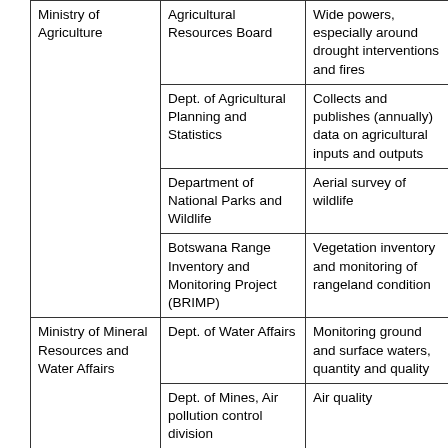| Ministry of Agriculture | Agricultural Resources Board | Wide powers, especially around drought interventions and fires |
|  | Dept. of Agricultural Planning and Statistics | Collects and publishes (annually) data on agricultural inputs and outputs |
|  | Department of National Parks and Wildlife | Aerial survey of wildlife |
|  | Botswana Range Inventory and Monitoring Project (BRIMP) | Vegetation inventory and monitoring of rangeland condition |
| Ministry of Mineral Resources and Water Affairs | Dept. of Water Affairs | Monitoring ground and surface waters, quantity and quality |
|  | Dept. of Mines, Air pollution control division | Air quality |
| Ministry of Local Government, Lands and Housing | National Conservation Strategy Advisory Board | Coordination between government departments on sustainable development |